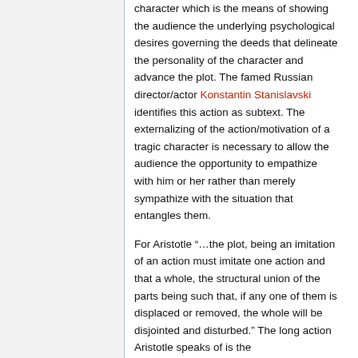character which is the means of showing the audience the underlying psychological desires governing the deeds that delineate the personality of the character and advance the plot. The famed Russian director/actor Konstantin Stanislavski identifies this action as subtext. The externalizing of the action/motivation of a tragic character is necessary to allow the audience the opportunity to empathize with him or her rather than merely sympathize with the situation that entangles them.
For Aristotle “…the plot, being an imitation of an action must imitate one action and that a whole, the structural union of the parts being such that, if any one of them is displaced or removed, the whole will be disjointed and disturbed.” The long action Aristotle speaks of is the